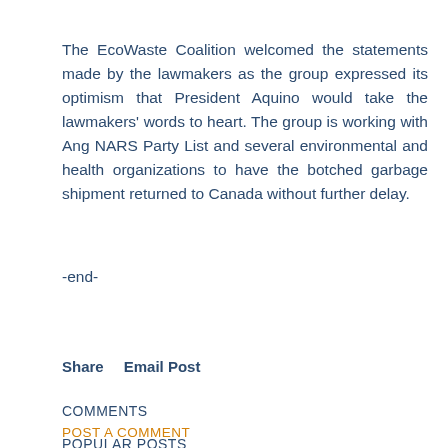The EcoWaste Coalition welcomed the statements made by the lawmakers as the group expressed its optimism that President Aquino would take the lawmakers' words to heart. The group is working with Ang NARS Party List and several environmental and health organizations to have the botched garbage shipment returned to Canada without further delay.
-end-
Share    Email Post
COMMENTS
POST A COMMENT
POPULAR POSTS